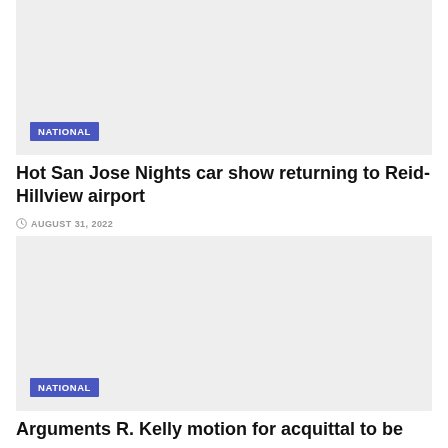[Figure (photo): Gray placeholder image with NATIONAL badge label]
Hot San Jose Nights car show returning to Reid-Hillview airport
AUGUST 31, 2022
[Figure (photo): Gray placeholder image with NATIONAL badge label]
Arguments R. Kelly motion for acquittal to be